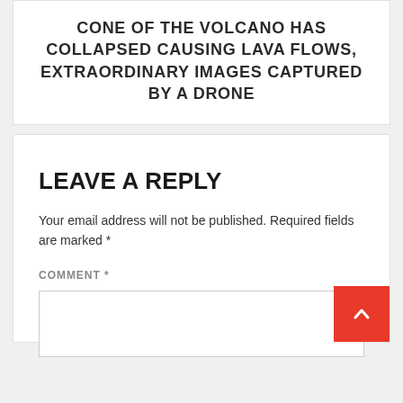CONE OF THE VOLCANO HAS COLLAPSED CAUSING LAVA FLOWS, EXTRAORDINARY IMAGES CAPTURED BY A DRONE
LEAVE A REPLY
Your email address will not be published. Required fields are marked *
COMMENT *